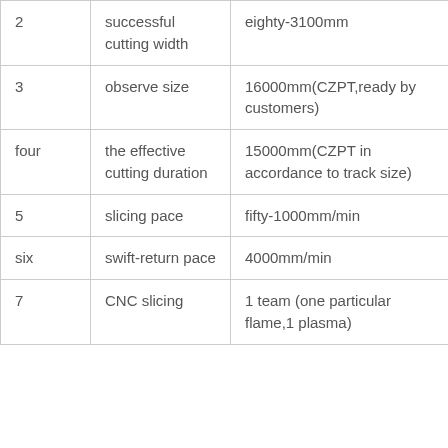|  |  |  |
| --- | --- | --- |
| 2 | successful cutting width | eighty-3100mm |
| 3 | observe size | 16000mm(CZPT,ready by customers) |
| four | the effective cutting duration | 15000mm(CZPT in accordance to track size) |
| 5 | slicing pace | fifty-1000mm/min |
| six | swift-return pace | 4000mm/min |
| 7 | CNC slicing | 1 team (one particular flame,1 plasma) |